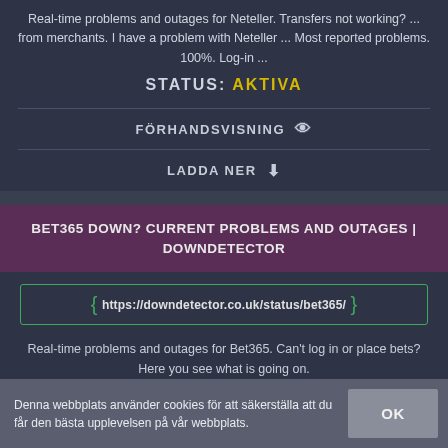Real-time problems and outages for Neteller. Transfers not working? ... from merchants. I have a problem with Neteller ... Most reported problems. 100%. Log-in ...
STATUS: AKTIVA
FÖRHANDSVISNING 👁
LADDA NER ⬇
BET365 DOWN? CURRENT PROBLEMS AND OUTAGES | DOWNDETECTOR
https://downdetector.co.uk/status/bet365/
Real-time problems and outages for Bet365. Can't log in or place bets? Here you see what is going on.
STATUS: AKTIVA
Denna webbplats använder cookies för att säkerställa att du får den bästa upplevelsen på vår webbplats.